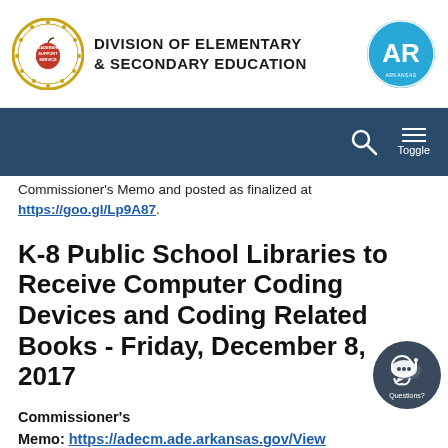Division of Elementary & Secondary Education
Commissioner's Memo and posted as finalized at https://goo.gl/Lp9A87.
K-8 Public School Libraries to Receive Computer Coding Devices and Coding Related Books - Friday, December 8, 2017
Commissioner's Memo: https://adecm.ade.arkansas.gov/ViewApprovedMemo.aspx?Id=3450